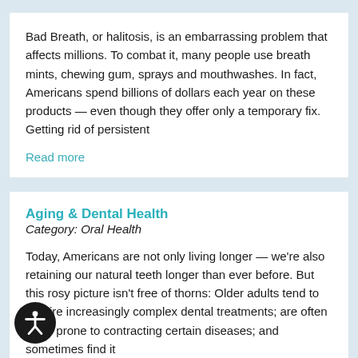Bad Breath, or halitosis, is an embarrassing problem that affects millions. To combat it, many people use breath mints, chewing gum, sprays and mouthwashes. In fact, Americans spend billions of dollars each year on these products — even though they offer only a temporary fix. Getting rid of persistent
Read more
Aging & Dental Health
Category: Oral Health
Today, Americans are not only living longer — we're also retaining our natural teeth longer than ever before. But this rosy picture isn't free of thorns: Older adults tend to require increasingly complex dental treatments; are often more prone to contracting certain diseases; and sometimes find it
Read more